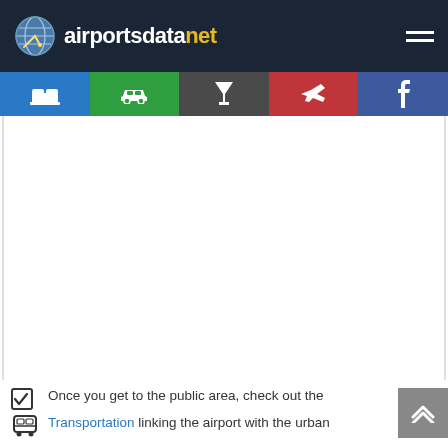airportsdatanet
[Figure (screenshot): Navigation bar with hotel, car, cocktail, plane, and facebook icons in colored sections (blue, green, dark grey, red, purple)]
[Figure (other): Large white/blank advertisement or map area]
Once you get to the public area, check out the
Transportation linking the airport with the urban